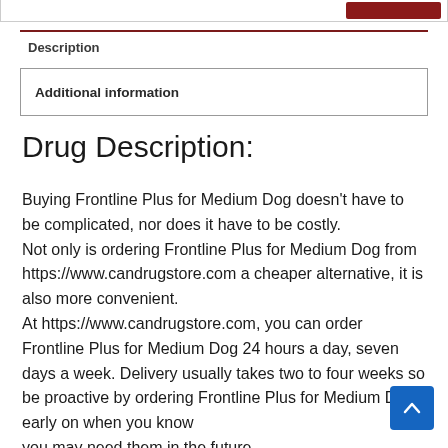Description
Additional information
Drug Description:
Buying Frontline Plus for Medium Dog doesn't have to be complicated, nor does it have to be costly. Not only is ordering Frontline Plus for Medium Dog from https://www.candrugstore.com a cheaper alternative, it is also more convenient. At https://www.candrugstore.com, you can order Frontline Plus for Medium Dog 24 hours a day, seven days a week. Delivery usually takes two to four weeks so be proactive by ordering Frontline Plus for Medium Dog early on when you know you may need them in the future.